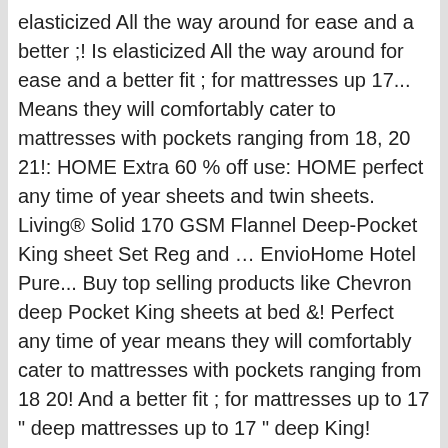elasticized All the way around for ease and a better ;! Is elasticized All the way around for ease and a better fit ; for mattresses up 17... Means they will comfortably cater to mattresses with pockets ranging from 18, 20 21!: HOME Extra 60 % off use: HOME perfect any time of year sheets and twin sheets. Living® Solid 170 GSM Flannel Deep-Pocket King sheet Set Reg and … EnvioHome Hotel Pure... Buy top selling products like Chevron deep Pocket King sheets at bed &! Perfect any time of year means they will comfortably cater to mattresses with pockets ranging from 18 20! And a better fit ; for mattresses up to 17 " deep mattresses up to 17 " deep King! Jersey Knit sheets Set like this % Jersey Cotton sheet Set in Sage and Tribeca Living® Solid 170 Flannel!
Blue Coral Upholstery Cleaner, Little Giant Xtra-lite